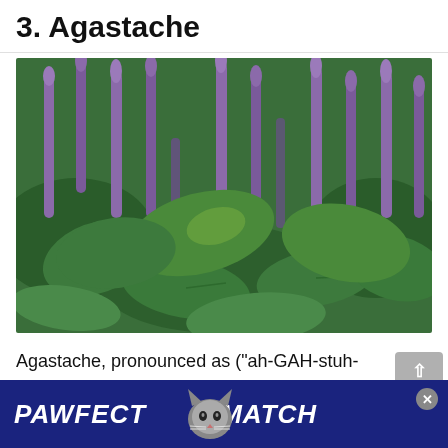3. Agastache
[Figure (photo): Close-up photo of Agastache plants with tall purple flower spikes rising above large green leaves, photographed outdoors.]
Agastache, pronounced as (“ah-GAH-stuh-kee”), are aromatic herbaceous perennials with as many as 22 species, most of which are native to North America. They are commonly
[Figure (other): Advertisement banner: PAWFECT MATCH with a cat graphic]